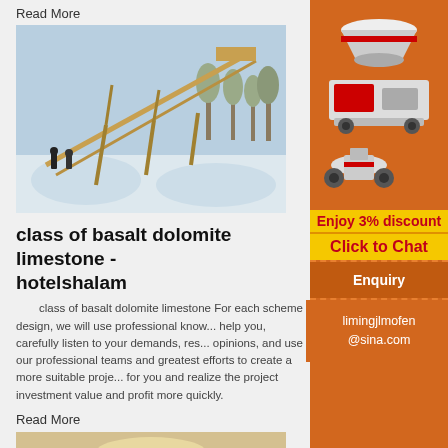Read More
[Figure (photo): Industrial conveyor belt system in a snowy outdoor setting with piles of aggregate material and trees in background]
class of basalt dolomite limestone - hotelshalam
class of basalt dolomite limestone For each scheme design, we will use professional knowledge to help you, carefully listen to your demands, respect your opinions, and use our professional teams and exert our greatest efforts to create a more suitable project scheme for you and realize the project investment value and profit more quickly.
Read More
[Figure (photo): Cone crusher machine in beige/sand color]
[Figure (photo): Orange sidebar advertisement showing mining/crushing machinery equipment including cone crusher, mobile crusher, and vertical mill]
Enjoy 3% discount
Click to Chat
Enquiry
limingjlmofen@sina.com